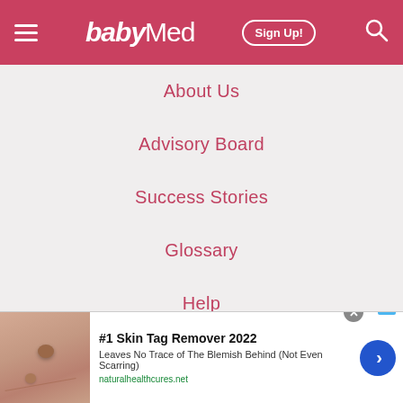babyMed | Sign Up!
About Us
Advisory Board
Success Stories
Glossary
Help
Terms of Service
[Figure (infographic): Advertisement banner: '#1 Skin Tag Remover 2022 - Leaves No Trace of The Blemish Behind (Not Even Scarring) naturalhealthcures.net' with skin image and blue arrow button]